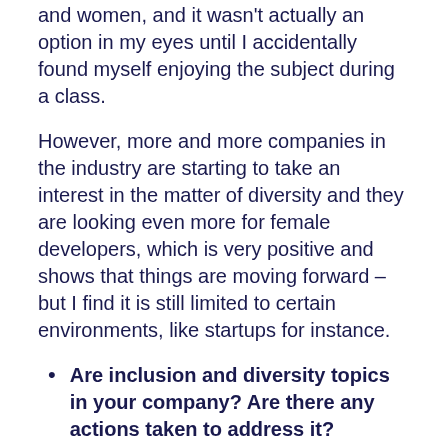and women, and it wasn't actually an option in my eyes until I accidentally found myself enjoying the subject during a class.
However, more and more companies in the industry are starting to take an interest in the matter of diversity and they are looking even more for female developers, which is very positive and shows that things are moving forward – but I find it is still limited to certain environments, like startups for instance.
Are inclusion and diversity topics in your company? Are there any actions taken to address it?
Yes, I would say that it is a subject at Alan. The company is transparent, we see what is happening in other departments and we have access to all figures. The goal is to recruit enough women to reach 20% across the company. There